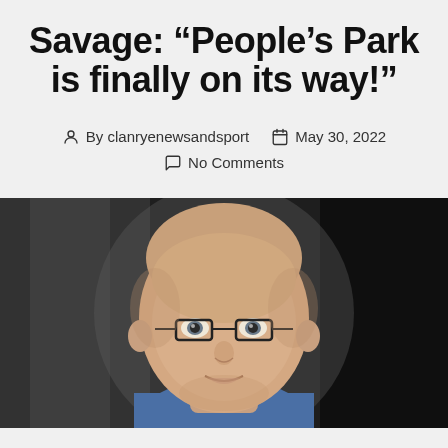Savage: “People’s Park is finally on its way!”
By clanryenewsandsport   May 30, 2022   No Comments
[Figure (photo): Close-up portrait of a bald middle-aged man with glasses, wearing a blue shirt, smiling slightly, with a blurred architectural background.]